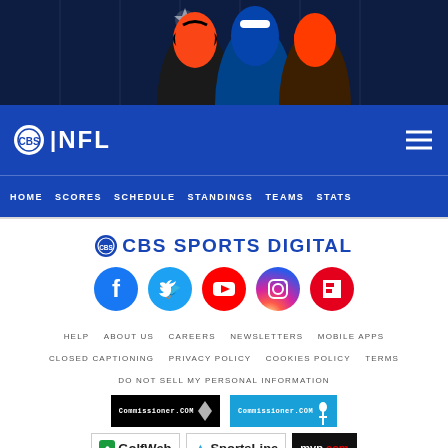[Figure (photo): NFL players from Cincinnati Bengals, Buffalo Bills, and Cleveland Browns in front of a dark stadium background with Paramount logo]
CBS | NFL
HOME  SCORES  SCHEDULE  STANDINGS  TEAMS  STATS
CBS SPORTS DIGITAL
[Figure (infographic): Row of social media icons: Facebook, Twitter, YouTube, Instagram, Flipboard]
HELP   ABOUT US   CAREERS   NEWSLETTERS   MOBILE APPS
CLOSED CAPTIONING   PRIVACY POLICY   COOKIES POLICY   TERMS
DO NOT SELL MY PERSONAL INFORMATION
[Figure (logo): Commissioner.com logos (black/white and blue versions) and partner brand logos: GolfWeb, SportsLine, mvp.com, Scout]
[Figure (logo): Scout logos at bottom]